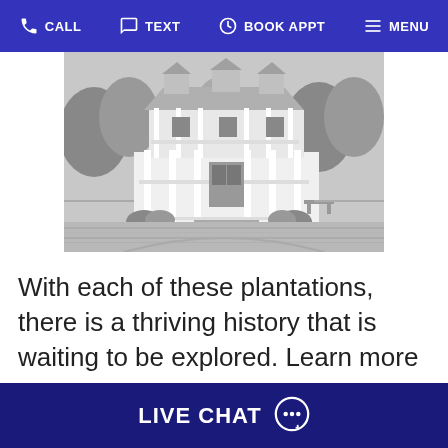CALL  TEXT  BOOK APPT  MENU
[Figure (photo): Black and white photograph of a large Southern plantation house with white columns, wrap-around porches on two levels, surrounded by trees and gardens, with a dirt/gravel path in the foreground.]
With each of these plantations, there is a thriving history that is waiting to be explored. Learn more about Charleston's history from our famous plantations this season. Most plantations are open every day, but be sure to check their official
LIVE CHAT